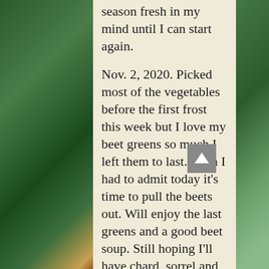season fresh in my mind until I can start again.
Nov. 2, 2020. Picked most of the vegetables before the first frost this week but I love my beet greens so much I left them to last. Even I had to admit today it's time to pull the beets out. Will enjoy the last greens and a good beet soup. Still hoping I'll have chard, sorrel and kale for a while.
Nov. 30, 2020. Got the last big job in the garden done before winter: sheltering my fig tree from the cold. Each year the job gets more complicated as the tree grows. And since I had a wonderful figs this year, I didn't...